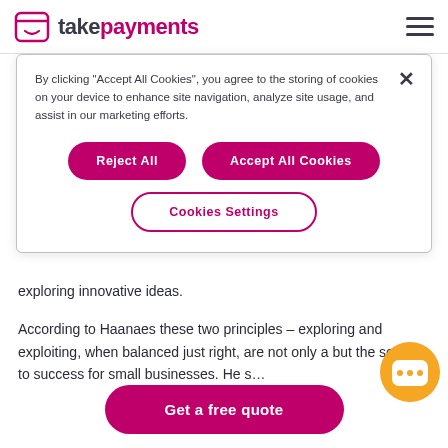takepayments
By clicking "Accept All Cookies", you agree to the storing of cookies on your device to enhance site navigation, analyze site usage, and assist in our marketing efforts.
Reject All | Accept All Cookies | Cookies Settings
exploring innovative ideas.
According to Haanaes these two principles – exploring and exploiting, when balanced just right, are not only a… but the secret to success for small businesses. He s…
Get a free quote